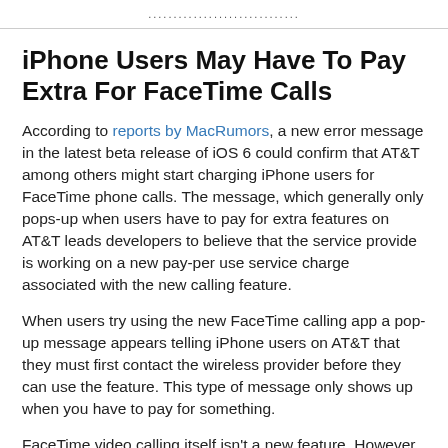............................
iPhone Users May Have To Pay Extra For FaceTime Calls
According to reports by MacRumors, a new error message in the latest beta release of iOS 6 could confirm that AT&T among others might start charging iPhone users for FaceTime phone calls. The message, which generally only pops-up when users have to pay for extra features on AT&T leads developers to believe that the service provide is working on a new pay-per use service charge associated with the new calling feature.
When users try using the new FaceTime calling app a pop-up message appears telling iPhone users on AT&T that they must first contact the wireless provider before they can use the feature. This type of message only shows up when you have to pay for something.
FaceTime video calling itself isn't a new feature. However